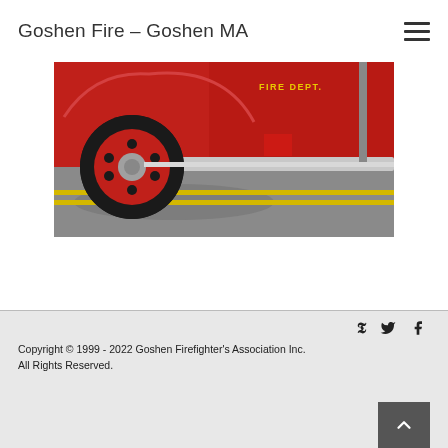Goshen Fire – Goshen MA
[Figure (photo): Photograph of a vintage red fire truck close-up showing the front wheel, fender, and cab with text 'FIRE DEPT.' on the side, parked on a road with double yellow center lines.]
Copyright © 1999 - 2022 Goshen Firefighter's Association Inc. All Rights Reserved.